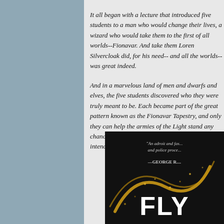It all began with a lecture that introduced five students to a man who would change their lives, a wizard who would take them to the first of all worlds--Fionavar. And take them Loren Silvercloak did, for his need--and all the worlds--was great indeed.
And in a marvelous land of men and dwarfs and elves, the five students discovered who they were truly meant to be. Each became part of the great pattern known as the Fionavar Tapestry, and only they can help the armies of the Light stand any chance of surviving the evil the forces of darkness intend to unleash upon the world.
[Figure (photo): Book cover with dark background featuring a golden swirl design. Text reads: 'An adroit and fascinating blend of high fantasy and police proce...' attributed to GEORGE R... The title appears in large white bold letters: FLY...]